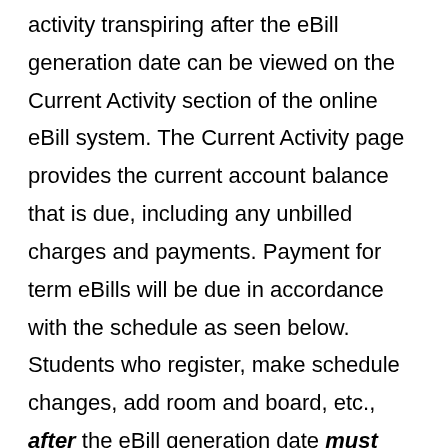activity transpiring after the eBill generation date can be viewed on the Current Activity section of the online eBill system. The Current Activity page provides the current account balance that is due, including any unbilled charges and payments. Payment for term eBills will be due in accordance with the schedule as seen below. Students who register, make schedule changes, add room and board, etc., after the eBill generation date must consult the online eBill system to view their account summary and arrange payment for all charges by the due date for the term, regardless of